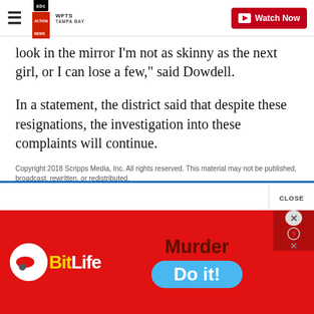WFTS TAMPA BAY | Watch Now
look in the mirror I'm not as skinny as the next girl, or I can lose a few," said Dowdell.
In a statement, the district said that despite these resignations, the investigation into these complaints will continue.
Copyright 2018 Scripps Media, Inc. All rights reserved. This material may not be published, broadcast, rewritten, or redistributed.
Report a typo
[Figure (screenshot): Advertisement banner for BitLife game featuring red background, BitLife logo in yellow and white text, and 'Murder / Do it!' call to action with a close button]